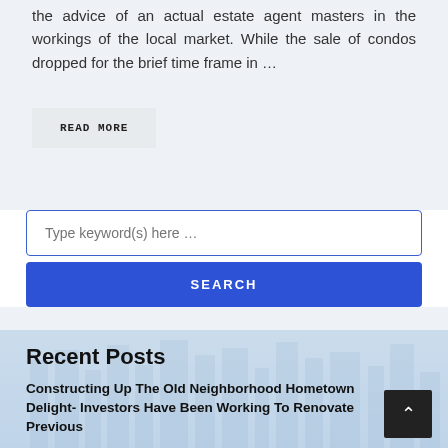the advice of an actual estate agent masters in the workings of the local market. While the sale of condos dropped for the brief time frame in …
READ MORE
Type keyword(s) here …
SEARCH
Recent Posts
Constructing Up The Old Neighborhood Hometown Delight- Investors Have Been Working To Renovate Previous